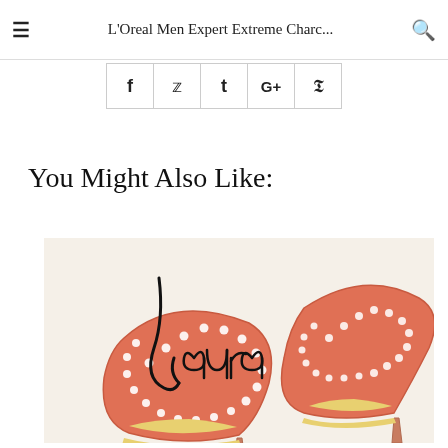L'Oreal Men Expert Extreme Charc...
[Figure (other): Social share bar with icons: Facebook (f), Twitter (bird), Tumblr (t), Google+ (G+), Pinterest (P)]
You Might Also Like:
[Figure (illustration): Illustration of a pair of red/coral rhinestone-studded high heel shoes with a handwritten cursive signature reading 'Laura' overlaid on a light cream background]